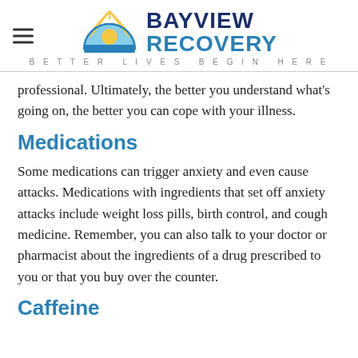[Figure (logo): Bayview Recovery logo with semicircle sun/rays icon, text 'BAYVIEW RECOVERY' and tagline 'BETTER LIVES BEGIN HERE']
professional. Ultimately, the better you understand what's going on, the better you can cope with your illness.
Medications
Some medications can trigger anxiety and even cause attacks. Medications with ingredients that set off anxiety attacks include weight loss pills, birth control, and cough medicine. Remember, you can also talk to your doctor or pharmacist about the ingredients of a drug prescribed to you or that you buy over the counter.
Caffeine